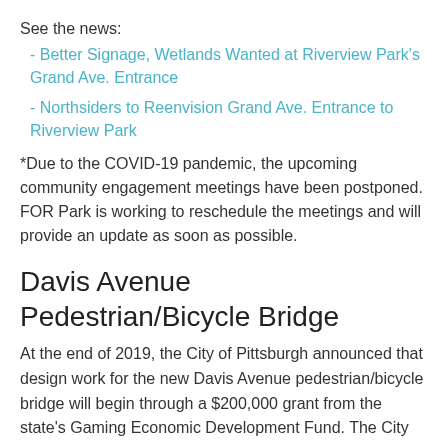See the news:
- Better Signage, Wetlands Wanted at Riverview Park's Grand Ave. Entrance
- Northsiders to Reenvision Grand Ave. Entrance to Riverview Park
*Due to the COVID-19 pandemic, the upcoming community engagement meetings have been postponed. FOR Park is working to reschedule the meetings and will provide an update as soon as possible.
Davis Avenue Pedestrian/Bicycle Bridge
At the end of 2019, the City of Pittsburgh announced that design work for the new Davis Avenue pedestrian/bicycle bridge will begin through a $200,000 grant from the state's Gaming Economic Development Fund. The City